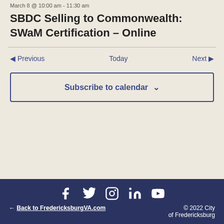March 8 @ 10:00 am - 11:30 am
SBDC Selling to Commonwealth: SWaM Certification – Online
◀ Previous   Today   Next ▶
Subscribe to calendar
← Back to FredericksburgVA.com   © 2022 City of Fredericksburg